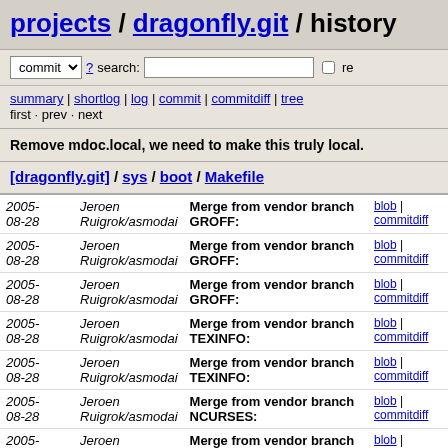projects / dragonfly.git / history
commit ? search: re
summary | shortlog | log | commit | commitdiff | tree
first · prev · next
Remove mdoc.local, we need to make this truly local.
[dragonfly.git] / sys / boot / Makefile
| Date | Author | Message | Links |
| --- | --- | --- | --- |
| 2005-08-28 | Jeroen Ruigrok/asmodai | Merge from vendor branch GROFF: | blob | commitdiff |
| 2005-08-28 | Jeroen Ruigrok/asmodai | Merge from vendor branch GROFF: | blob | commitdiff |
| 2005-08-28 | Jeroen Ruigrok/asmodai | Merge from vendor branch GROFF: | blob | commitdiff |
| 2005-08-28 | Jeroen Ruigrok/asmodai | Merge from vendor branch TEXINFO: | blob | commitdiff |
| 2005-08-28 | Jeroen Ruigrok/asmodai | Merge from vendor branch TEXINFO: | blob | commitdiff |
| 2005-08-28 | Jeroen Ruigrok/asmodai | Merge from vendor branch NCURSES: | blob | commitdiff |
| 2005-08-28 | Jeroen Ruigrok/asmodai | Merge from vendor branch GCC: | blob | commitdiff |
| 2005-08-28 | Jeroen Ruigrok/asmodai | Merge from vendor branch CVS: | blob | commitdiff |